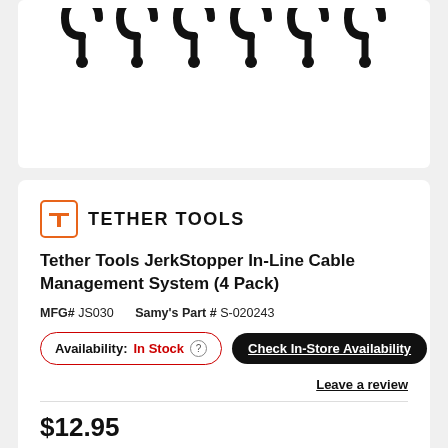[Figure (photo): Black metal J-hooks / cable management hooks, multiple hooks shown in a row against white background]
[Figure (logo): Tether Tools brand logo: orange square border with T inside, followed by TETHER TOOLS in bold uppercase]
Tether Tools JerkStopper In-Line Cable Management System (4 Pack)
MFG# JS030   Samy's Part # S-020243
Availability: In Stock  Check In-Store Availability
Leave a review
$12.95